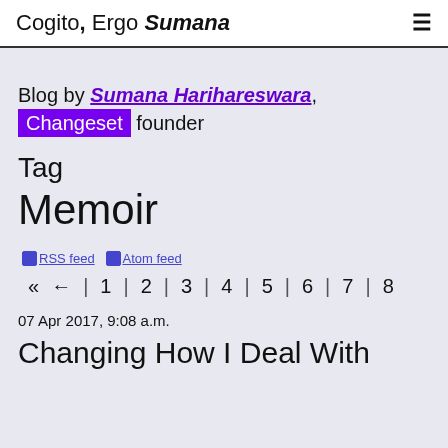Cogito, Ergo Sumana ≡
Blog by Sumana Harihareswara, Changeset founder
Tag
Memoir
📡 RSS feed 📡 Atom feed
« ← | 1 | 2 | 3 | 4 | 5 | 6 | 7 | 8
07 Apr 2017, 9:08 a.m.
Changing How I Deal With